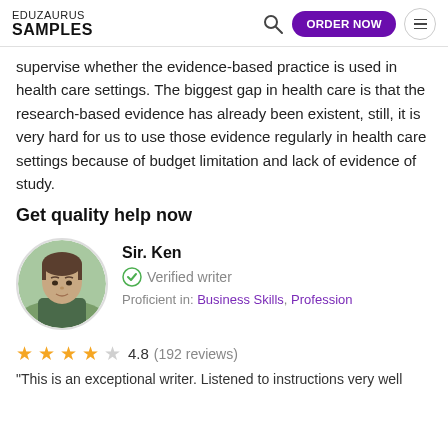EDUZAURUS SAMPLES — ORDER NOW
supervise whether the evidence-based practice is used in health care settings. The biggest gap in health care is that the research-based evidence has already been existent, still, it is very hard for us to use those evidence regularly in health care settings because of budget limitation and lack of evidence of study.
Get quality help now
[Figure (photo): Circular headshot photo of a young man named Sir. Ken, outdoors with green background]
Sir. Ken
Verified writer
Proficient in: Business Skills, Profession
4.8 (192 reviews)
"This is an exceptional writer. Listened to instructions very well